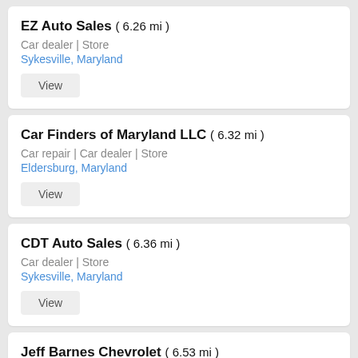EZ Auto Sales ( 6.26 mi ) — Car dealer | Store — Sykesville, Maryland
Car Finders of Maryland LLC ( 6.32 mi ) — Car repair | Car dealer | Store — Eldersburg, Maryland
CDT Auto Sales ( 6.36 mi ) — Car dealer | Store — Sykesville, Maryland
Jeff Barnes Chevrolet ( 6.53 mi ) — Car repair | Car dealer | Store — Eldersburg, Maryland